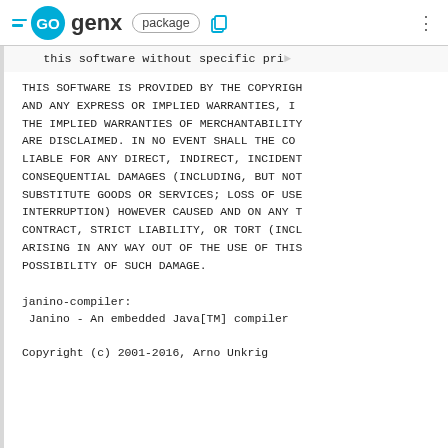GO genx  package
this software without specific pri
THIS SOFTWARE IS PROVIDED BY THE COPYRIGH
AND ANY EXPRESS OR IMPLIED WARRANTIES, IN
THE IMPLIED WARRANTIES OF MERCHANTABILITY
ARE DISCLAIMED. IN NO EVENT SHALL THE COP
LIABLE FOR ANY DIRECT, INDIRECT, INCIDENT
CONSEQUENTIAL DAMAGES (INCLUDING, BUT NOT
SUBSTITUTE GOODS OR SERVICES; LOSS OF USE
INTERRUPTION) HOWEVER CAUSED AND ON ANY T
CONTRACT, STRICT LIABILITY, OR TORT (INCL
ARISING IN ANY WAY OUT OF THE USE OF THIS
POSSIBILITY OF SUCH DAMAGE.
janino-compiler:
 Janino - An embedded Java[TM] compiler
Copyright (c) 2001-2016, Arno Unkrig